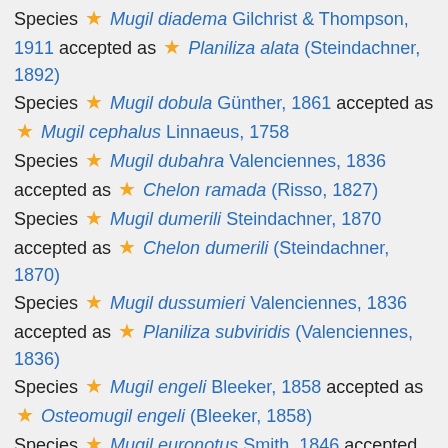Species ★ Mugil diadema Gilchrist & Thompson, 1911 accepted as ★ Planiliza alata (Steindachner, 1892)
Species ★ Mugil dobula Günther, 1861 accepted as ★ Mugil cephalus Linnaeus, 1758
Species ★ Mugil dubahra Valenciennes, 1836 accepted as ★ Chelon ramada (Risso, 1827)
Species ★ Mugil dumerili Steindachner, 1870 accepted as ★ Chelon dumerili (Steindachner, 1870)
Species ★ Mugil dussumieri Valenciennes, 1836 accepted as ★ Planiliza subviridis (Valenciennes, 1836)
Species ★ Mugil engeli Bleeker, 1858 accepted as ★ Osteomugil engeli (Bleeker, 1858)
Species ★ Mugil euronotus Smith, 1846 accepted as ★ Pseudomyxus capensis (Valenciennes, 1836)
Species ★ Mugil falcipinnis Valenciennes, 1836 accepted as ★ Neochelon falcipinnis (Valenciennes, 1836)
Species ★ Mugil fasciatus Valenciennes, 1836 accepted as ★ Crenimugil crenilabis (Forsskål,